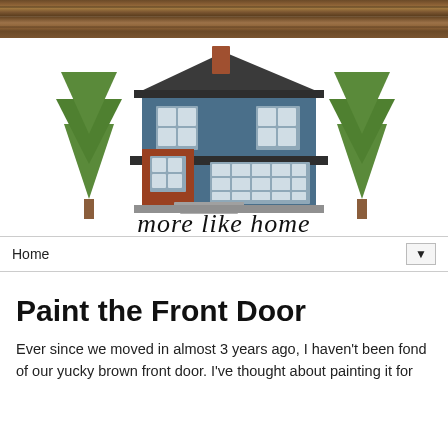[Figure (illustration): Wood plank texture header banner at top of page]
[Figure (logo): More Like Home blog logo: illustrated blue two-story house with dark roof, chimney, two evergreen trees on either side, cursive 'more like home' text below]
Home ▼
Paint the Front Door
Ever since we moved in almost 3 years ago, I haven't been fond of our yucky brown front door. I've thought about painting it for